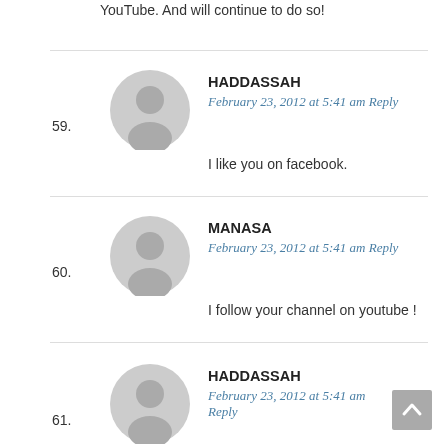YouTube. And will continue to do so!
59. HADDASSAH
February 23, 2012 at 5:41 am Reply
I like you on facebook.
60. MANASA
February 23, 2012 at 5:41 am Reply
I follow your channel on youtube !
61. HADDASSAH
February 23, 2012 at 5:41 am Reply
I subscribe to your youtube channel